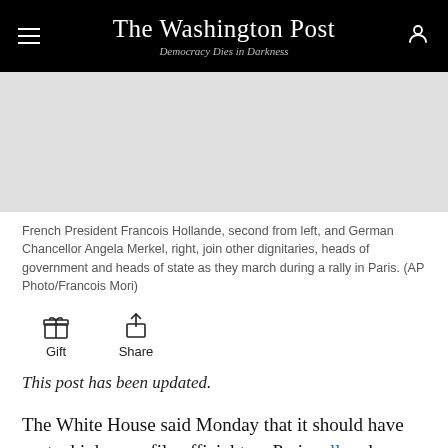The Washington Post — Democracy Dies in Darkness
[Figure (photo): Gray placeholder area representing a news photograph of French President Francois Hollande and German Chancellor Angela Merkel marching at a Paris rally.]
French President Francois Hollande, second from left, and German Chancellor Angela Merkel, right, join other dignitaries, heads of government and heads of state as they march during a rally in Paris. (AP Photo/Francois Mori)
Gift   Share
This post has been updated.
The White House said Monday that it should have sent a higher-profile official to a Paris rally where 1.5